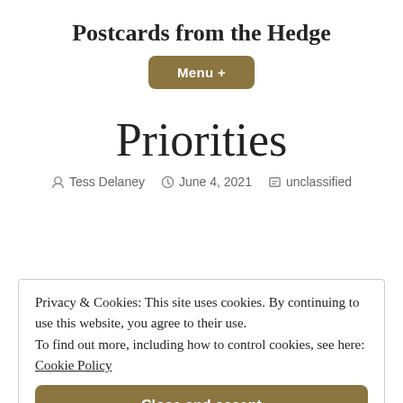Postcards from the Hedge
Menu +
Priorities
Tess Delaney   June 4, 2021   unclassified
Privacy & Cookies: This site uses cookies. By continuing to use this website, you agree to their use. To find out more, including how to control cookies, see here: Cookie Policy
Close and accept
had a brand new set of PCC recycling bins, for the